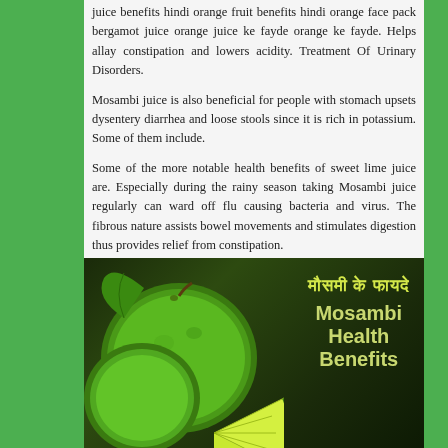juice benefits hindi orange fruit benefits hindi orange face pack bergamot juice orange juice ke fayde orange ke fayde. Helps allay constipation and lowers acidity. Treatment Of Urinary Disorders.
Mosambi juice is also beneficial for people with stomach upsets dysentery diarrhea and loose stools since it is rich in potassium. Some of them include.
Some of the more notable health benefits of sweet lime juice are. Especially during the rainy season taking Mosambi juice regularly can ward off flu causing bacteria and virus. The fibrous nature assists bowel movements and stimulates digestion thus provides relief from constipation.
[Figure (photo): Photo of mosambi (sweet lime) fruits — two whole green limes and a wedge slice — on a dark background with Hindi text 'मौसमी के फायदे' and English text 'Mosambi Health Benefits' in yellow-green bold font.]